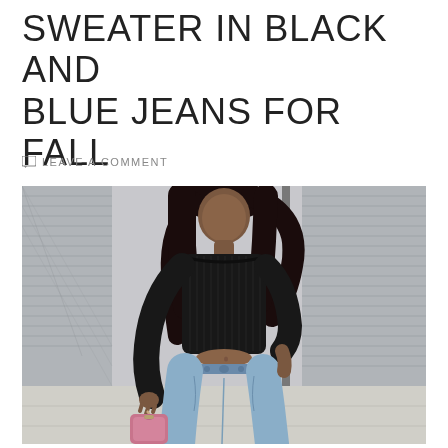SWEATER IN BLACK AND BLUE JEANS FOR FALL
LEAVE A COMMENT
[Figure (photo): A woman wearing a black ribbed crop sweater and light blue skinny jeans, holding a pink chain-strap handbag, standing in front of a chain-link fence background.]